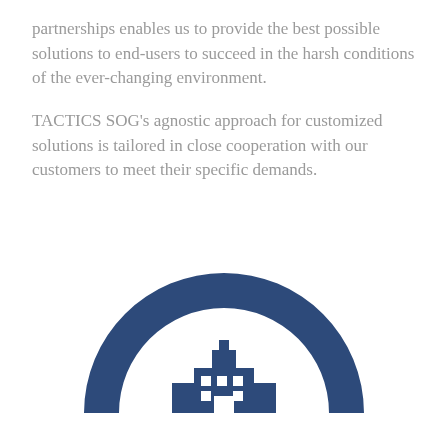partnerships enables us to provide the best possible solutions to end-users to succeed in the harsh conditions of the ever-changing environment.
TACTICS SOG’s agnostic approach for customized solutions is tailored in close cooperation with our customers to meet their specific demands.
[Figure (logo): Circular logo/emblem with a thick dark navy blue ring (open at the bottom), and a dark navy blue building/target silhouette centered inside the ring. The logo is partially cropped at the bottom of the page.]